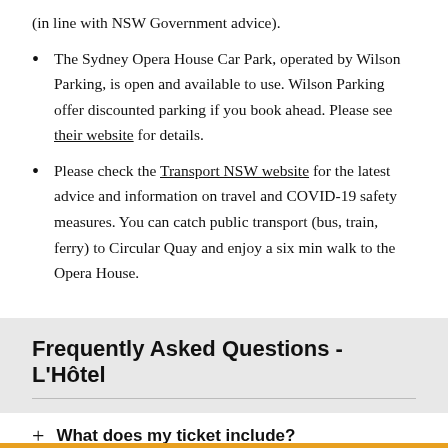(in line with NSW Government advice).
The Sydney Opera House Car Park, operated by Wilson Parking, is open and available to use. Wilson Parking offer discounted parking if you book ahead. Please see their website for details.
Please check the Transport NSW website for the latest advice and information on travel and COVID-19 safety measures. You can catch public transport (bus, train, ferry) to Circular Quay and enjoy a six min walk to the Opera House.
Frequently Asked Questions - L'Hôtel
What does my ticket include?